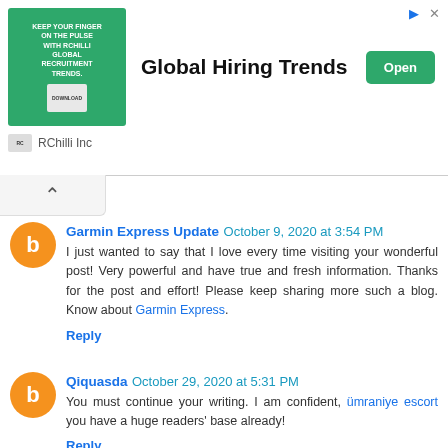[Figure (other): Advertisement banner for RChilli Inc - Global Hiring Trends with green background image and Open button]
Garmin Express Update October 9, 2020 at 3:54 PM
I just wanted to say that I love every time visiting your wonderful post! Very powerful and have true and fresh information. Thanks for the post and effort! Please keep sharing more such a blog. Know about Garmin Express.
Reply
Qiquasda October 29, 2020 at 5:31 PM
You must continue your writing. I am confident, ümraniye escort you have a huge readers' base already!
Reply